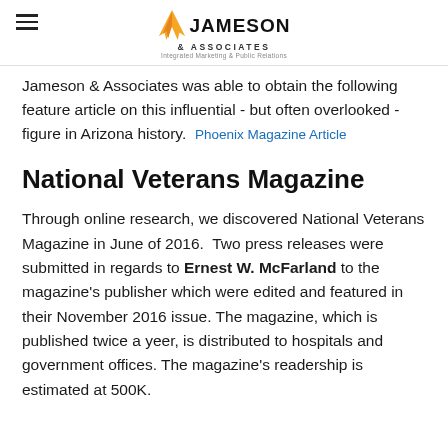Jameson & Associates — Integrated Marketing & Public Relations
Jameson & Associates was able to obtain the following feature article on this influential - but often overlooked - figure in Arizona history.  Phoenix Magazine Article
National Veterans Magazine
Through online research, we discovered National Veterans Magazine in June of 2016.  Two press releases were submitted in regards to Ernest W. McFarland to the magazine's publisher which were edited and featured in their November 2016 issue. The magazine, which is published twice a yeer, is distributed to hospitals and government offices. The magazine's readership is estimated at 500K.